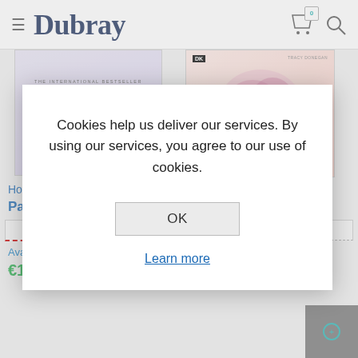Dubray
[Figure (screenshot): Dubray Books website with two book products visible: 'How Children Succeed' by Paul Tough and a DK book by Tracy Donegan. A cookie consent modal dialog overlays the page.]
Cookies help us deliver our services. By using our services, you agree to our use of cookies.
OK
Learn more
How
Med...
Paul Tough
Tracy Donegan
10-12 DAY DELIVERY
IN STOCK
Availability by Store
Availability by Store
€12.55
€23.75